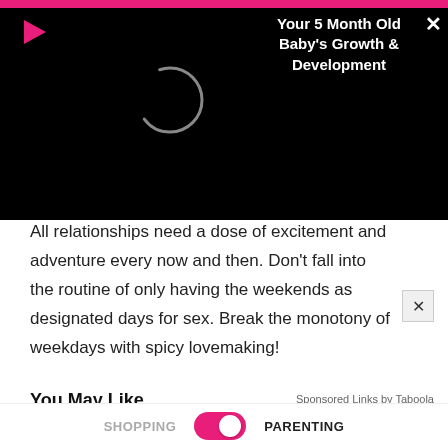[Figure (screenshot): Video player banner overlay with black background, pink top bar, play button icon, loading spinner circle, video title 'Your 5 Month Old Baby's Growth & Development', and close X button]
All relationships need a dose of excitement and adventure every now and then. Don't fall into the routine of only having the weekends as designated days for sex. Break the monotony of weekdays with spicy lovemaking!
You May Like
Sponsored Links by Taboola
[Figure (photo): Close-up photo of fingers touching a red sugary candy against a dark background]
SHOPPING   PARENTING